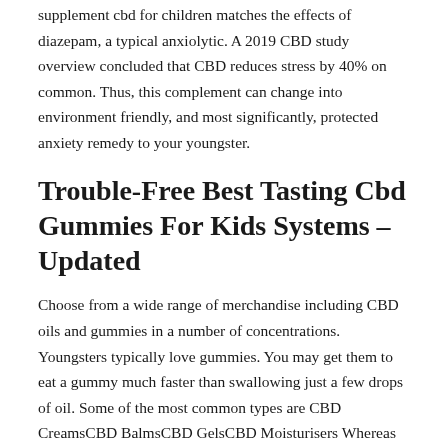supplement cbd for children matches the effects of diazepam, a typical anxiolytic. A 2019 CBD study overview concluded that CBD reduces stress by 40% on common. Thus, this complement can change into environment friendly, and most significantly, protected anxiety remedy to your youngster.
Trouble-Free Best Tasting Cbd Gummies For Kids Systems – Updated
Choose from a wide range of merchandise including CBD oils and gummies in a number of concentrations. Youngsters typically love gummies. You may get them to eat a gummy much faster than swallowing just a few drops of oil. Some of the most common types are CBD CreamsCBD BalmsCBD GelsCBD Moisturisers Whereas additional hints many understand these products as interchangeable, they all perform uniquely To be taught more concerning the kinds of CBD topicals on provide and how every is used, hold reading our topical overview.
The…